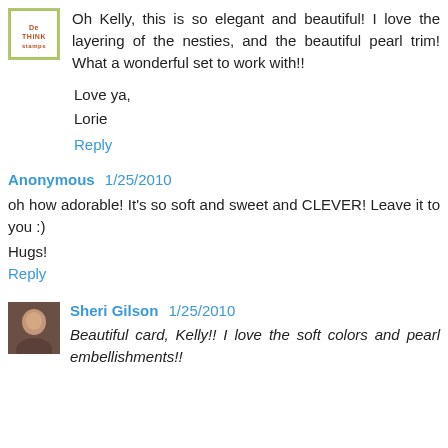Oh Kelly, this is so elegant and beautiful! I love the layering of the nesties, and the beautiful pearl trim! What a wonderful set to work with!!
Love ya,
Lorie
Reply
Anonymous  1/25/2010
oh how adorable! It's so soft and sweet and CLEVER! Leave it to you :)
Hugs!
Reply
Sheri Gilson  1/25/2010
Beautiful card, Kelly!! I love the soft colors and pearl embellishments!!